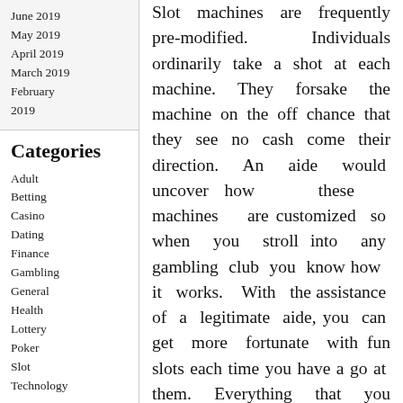June 2019
May 2019
April 2019
March 2019
February 2019
Categories
Adult
Betting
Casino
Dating
Finance
Gambling
General
Health
Lottery
Poker
Slot
Technology
Slot machines are frequently pre-modified. Individuals ordinarily take a shot at each machine. They forsake the machine on the off chance that they see no cash come their direction. An aide would uncover how these machines are customized so when you stroll into any gambling club you know how it works. With the assistance of a legitimate aide, you can get more fortunate with fun slots each time you have a go at them. Everything that you have aimed for can work out with fun slots. With additional